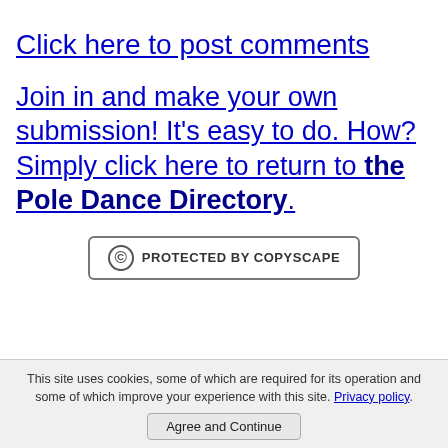Click here to post comments
Join in and make your own submission! It's easy to do. How? Simply click here to return to the Pole Dance Directory.
[Figure (other): Protected by Copyscape badge — a rounded rectangle border containing a copyright circle symbol and the text 'PROTECTED BY COPYSCAPE']
This site uses cookies, some of which are required for its operation and some of which improve your experience with this site. Privacy policy. Agree and Continue